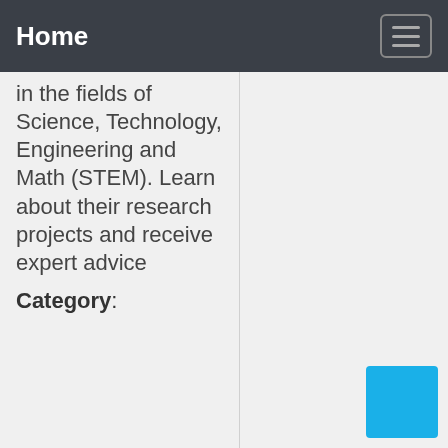Home
in the fields of Science, Technology, Engineering and Math (STEM). Learn about their research projects and receive expert advice
Category: